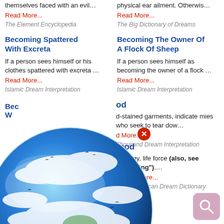themselves faced with an evil…
Read More...
The Element Encyclopedia
physical ear ailment. Otherwis…
Read More...
The Big Dictionary of Dreams
Becoming Spattered With Excreta
Becoming The Owner Of A Flock Of Sheep
If a person sees himself or his clothes spattered with excreta …
Read More...
Islamic Dream Interpretation
If a person sees himself as becoming the owner of a flock …
Read More...
Islamic Dream Interpretation
[Figure (illustration): Dream Encyclopedia globe logo with clouds and birds, overlaid on the page]
od
d-stained garments, indicate mies who seek to tear dow…
d More...
Thousand Dream Interpretation
ood
Energy, life force (also, see "bleeding")….
Read More...
New American Dream Dictionary